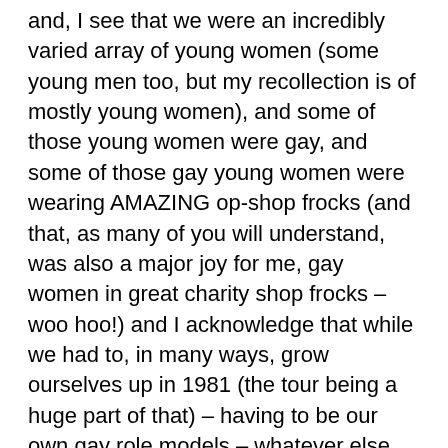and, I see that we were an incredibly varied array of young women (some young men too, but my recollection is of mostly young women), and some of those young women were gay, and some of those gay young women were wearing AMAZING op-shop frocks (and that, as many of you will understand, was also a major joy for me, gay women in great charity shop frocks – woo hoo!) and I acknowledge that while we had to, in many ways, grow ourselves up in 1981 (the tour being a huge part of that) – having to be our own gay role models – whatever else we didn't have, we DID have the Topp Twins. For which I am hugely grateful.
And REALLY excited to be seeing them tomorrow night